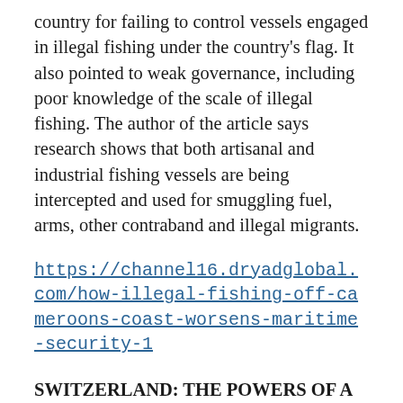country for failing to control vessels engaged in illegal fishing under the country's flag. It also pointed to weak governance, including poor knowledge of the scale of illegal fishing. The author of the article says research shows that both artisanal and industrial fishing vessels are being intercepted and used for smuggling fuel, arms, other contraband and illegal migrants.
https://channel16.dryadglobal.com/how-illegal-fishing-off-cameroons-coast-worsens-maritime-security-1
SWITZERLAND: THE POWERS OF A FOREIGN BANKRUPT COMPANY AND THE FOREIGN BANKRUPTCY ADMINISTRATOR IN CASE OF